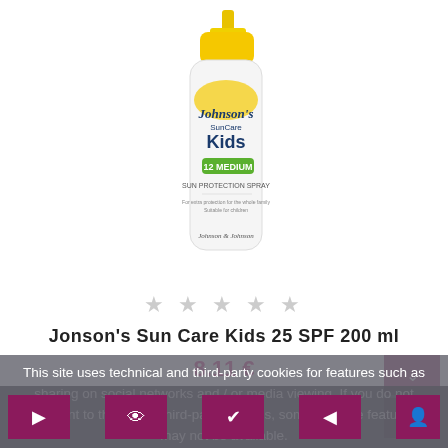[Figure (photo): Johnson's SunCare Kids SPF 25 Medium Sun Protection Spray 200ml bottle with yellow cap and spray pump]
★ ★ ★ ★ ★
Jonson's Sun Care Kids 25 SPF 200 ml
8.11 €
This site uses technical and third-party cookies for features such as sharing on social networks and / or media viewing. If you do not consent to the use of third-party cookies, some of these features may not be available.
For more information, see the sections at the bottom of the page